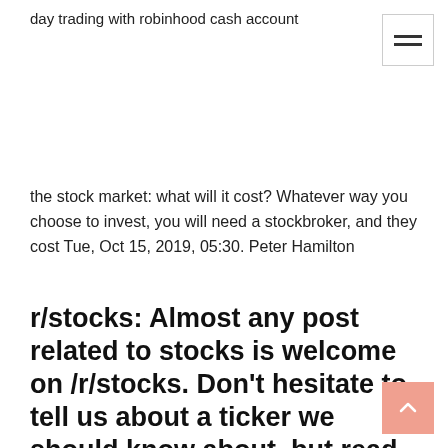day trading with robinhood cash account
the stock market: what will it cost? Whatever way you choose to invest, you will need a stockbroker, and they cost Tue, Oct 15, 2019, 05:30. Peter Hamilton
r/stocks: Almost any post related to stocks is welcome on /r/stocks. Don't hesitate to tell us about a ticker we should know about, but read the ...
How To Invest In Stocks For Free: Robinhood, New ...
Mar 23, 2020 · As you can see, people are afraid of losing